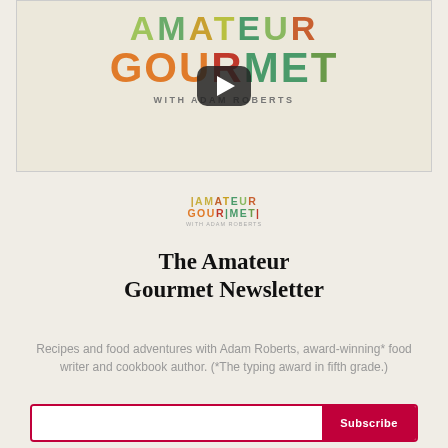[Figure (screenshot): Amateur Gourmet video thumbnail with colorful logo text and YouTube play button overlay. Logo reads 'AMATEUR GOURMET with Adam Roberts' in multicolored letters with pasta illustration.]
[Figure (logo): Small Amateur Gourmet logo: colorful text 'THE AMATEUR GOURMET with Adam Roberts']
The Amateur Gourmet Newsletter
Recipes and food adventures with Adam Roberts, award-winning* food writer and cookbook author. (*The typing award in fifth grade.)